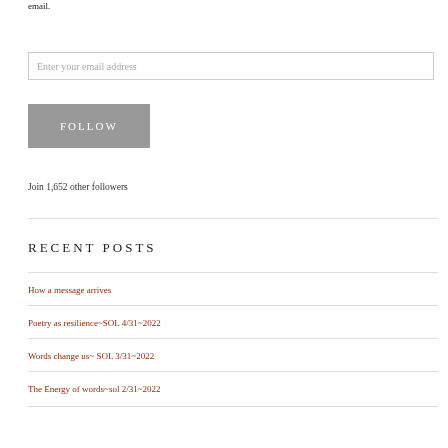email.
Enter your email address
FOLLOW
Join 1,652 other followers
RECENT POSTS
How a message arrives
Poetry as resilience~SOL 4/31~2022
Words change us~ SOL 3/31~2022
The Energy of words~sol 2/31~2022